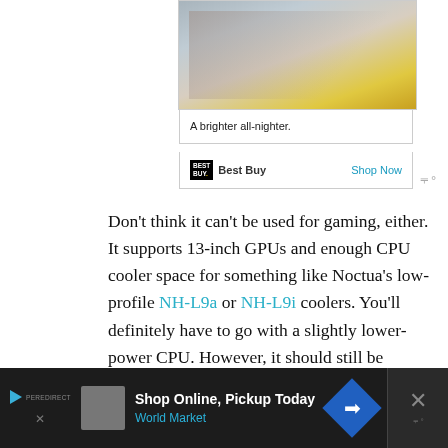[Figure (photo): Advertisement image showing person holding a tablet, with yellow luggage visible, displayed in a Best Buy ad unit]
A brighter all-nighter.
Best Buy   Shop Now
Don’t think it can’t be used for gaming, either. It supports 13-inch GPUs and enough CPU cooler space for something like Noctua’s low-profile NH-L9a or NH-L9i coolers. You’ll definitely have to go with a slightly lower-power CPU. However, it should still be enough for an enjoyable gaming experience.
Shop Online, Pickup Today World Market